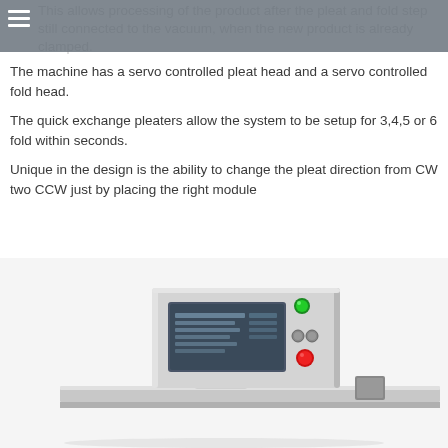This allows processing of the product after the pleat and fold step still connected to the vacuum, when the new product is already clamped.
The machine has a servo controlled pleat head and a servo controlled fold head.
The quick exchange pleaters allow the system to be setup for 3,4,5 or 6 fold within seconds.
Unique in the design is the ability to change the pleat direction from CW two CCW just by placing the right module
[Figure (photo): Industrial machine with a control panel featuring a touchscreen display, green indicator light, two small control buttons, and a red emergency stop button. The machine has a stainless steel flat bed/table surface below the control unit mounted on a pedestal.]